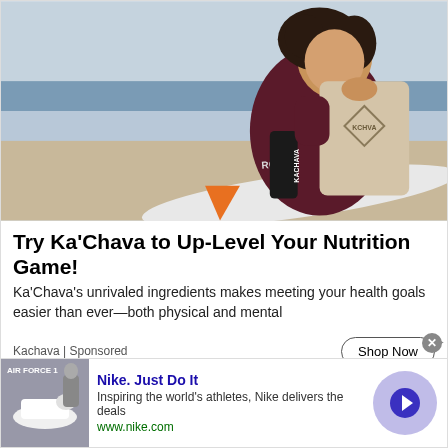[Figure (photo): Woman in dark red wetsuit at beach, smiling, holding Ka'Chava canister and large bag of Ka'Chava product. White surfboard visible with orange fin. Sandy beach and ocean in background.]
Try Ka'Chava to Up-Level Your Nutrition Game!
Ka'Chava's unrivaled ingredients makes meeting your health goals easier than ever—both physical and mental
Kachava | Sponsored
[Figure (photo): Nike Air Force 1 shoe advertisement showing white sneakers with a person in background]
Nike. Just Do It
Inspiring the world's athletes, Nike delivers the deals
www.nike.com